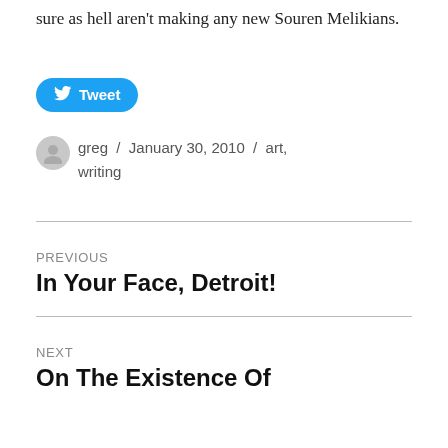sure as hell aren't making any new Souren Melikians.
[Figure (other): Twitter Tweet button (blue rounded pill button with Twitter bird icon and text 'Tweet')]
greg / January 30, 2010 / art, writing
PREVIOUS
In Your Face, Detroit!
NEXT
On The Existence Of